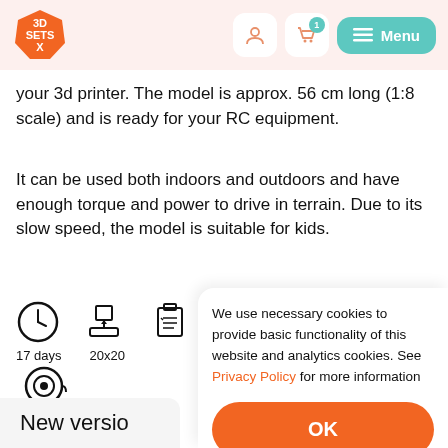[Figure (logo): 3D SETS X orange hexagonal logo]
your 3d printer. The model is approx. 56 cm long (1:8 scale) and is ready for your RC equipment.
It can be used both indoors and outdoors and have enough torque and power to drive in terrain. Due to its slow speed, the model is suitable for kids.
[Figure (infographic): Row of icons: clock, 3D printer, checklist, kg spool, filament spool]
17 days   20x20
[Figure (infographic): Filament spool icon]
PC Blend/ASA
New versio
We use necessary cookies to provide basic functionality of this website and analytics cookies. See Privacy Policy for more information